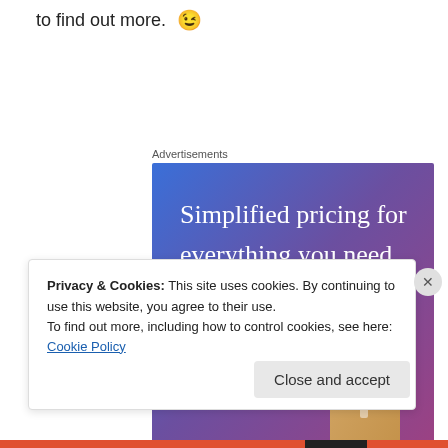to find out more. 😉
Advertisements
[Figure (illustration): Advertisement banner with blue-purple gradient background, large white serif text reading 'Simplified pricing for everything you need.', a pink 'Build Your Website' button, and a tan/gold price tag illustration on the right side.]
Privacy & Cookies: This site uses cookies. By continuing to use this website, you agree to their use.
To find out more, including how to control cookies, see here: Cookie Policy
Close and accept